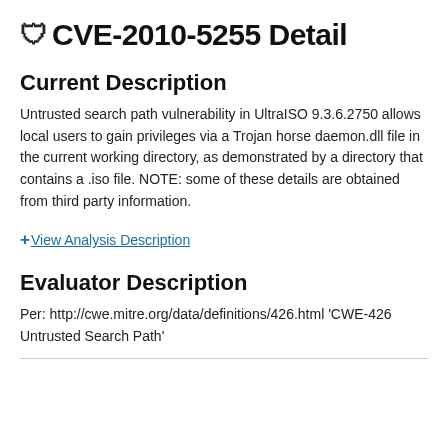CVE-2010-5255 Detail
Current Description
Untrusted search path vulnerability in UltraISO 9.3.6.2750 allows local users to gain privileges via a Trojan horse daemon.dll file in the current working directory, as demonstrated by a directory that contains a .iso file. NOTE: some of these details are obtained from third party information.
+View Analysis Description
Evaluator Description
Per: http://cwe.mitre.org/data/definitions/426.html 'CWE-426 Untrusted Search Path'